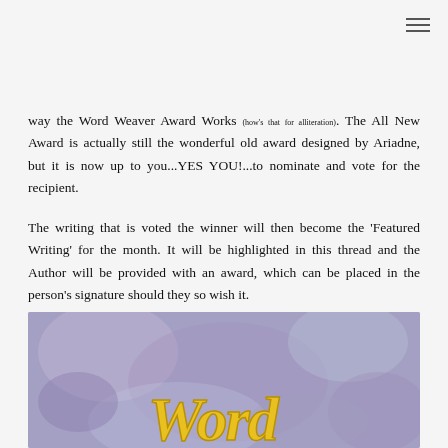way the Word Weaver Award Works (how's that for alliteration). The All New Award is actually still the wonderful old award designed by Ariadne, but it is now up to you...YES YOU!...to nominate and vote for the recipient.
The writing that is voted the winner will then become the 'Featured Writing' for the month. It will be highlighted in this thread and the Author will be provided with an award, which can be placed in the person's signature should they so wish it.
[Figure (illustration): Award image with a purple/blue textured background and gold cursive text reading 'Word' visible at the bottom portion of the image.]